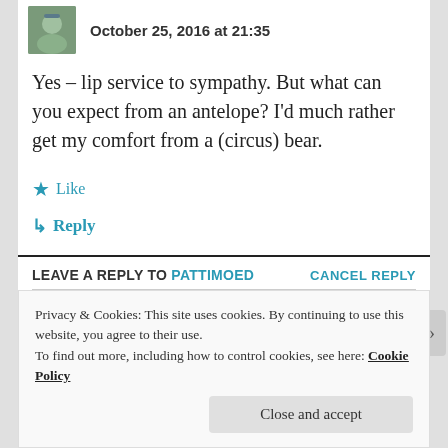October 25, 2016 at 21:35
Yes – lip service to sympathy. But what can you expect from an antelope? I'd much rather get my comfort from a (circus) bear.
★ Like
↳ Reply
LEAVE A REPLY TO PATTIMOED    CANCEL REPLY
Your email address will not be published.
Privacy & Cookies: This site uses cookies. By continuing to use this website, you agree to their use.
To find out more, including how to control cookies, see here: Cookie Policy